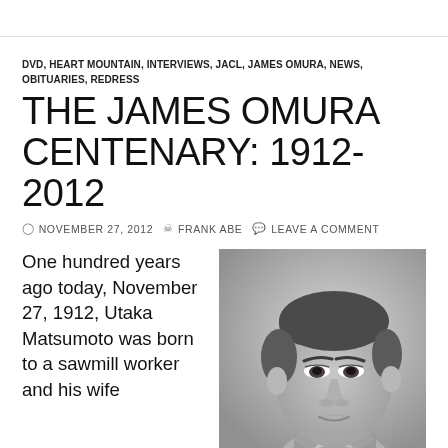DVD, HEART MOUNTAIN, INTERVIEWS, JACL, JAMES OMURA, NEWS, OBITUARIES, REDRESS
THE JAMES OMURA CENTENARY: 1912-2012
NOVEMBER 27, 2012  FRANK ABE  LEAVE A COMMENT
One hundred years ago today, November 27, 1912, Utaka Matsumoto was born to a sawmill worker and his wife
[Figure (photo): Black and white photograph of James Omura, a young Japanese American man in a suit, head and shoulders portrait]